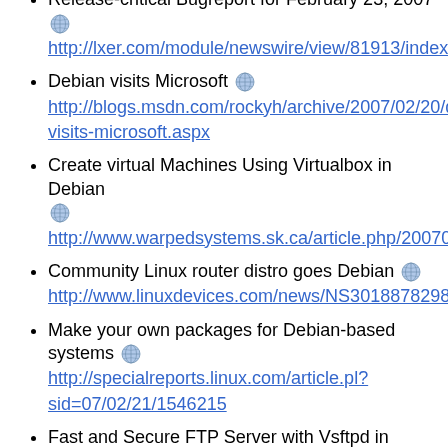Release-critical Bugreport for February 23, 2007
http://lxer.com/module/newswire/view/81913/index.ht
Debian visits Microsoft
http://blogs.msdn.com/rockyh/archive/2007/02/20/de visits-microsoft.aspx
Create virtual Machines Using Virtualbox in Debian
http://www.warpedsystems.sk.ca/article.php/2007021
Community Linux router distro goes Debian
http://www.linuxdevices.com/news/NS3018878298.h
Make your own packages for Debian-based systems
http://specialreports.linux.com/article.pl?sid=07/02/21/1546215
Fast and Secure FTP Server with Vsftpd in Debian